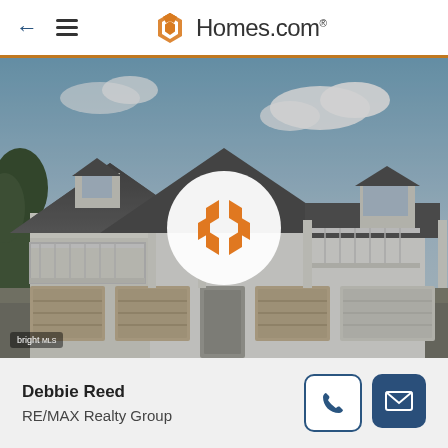Homes.com
[Figure (photo): Exterior photo of a multi-unit residential townhouse/condo building with white siding, garages on ground floor, balconies on second floor, and dormer windows. Blue sky with clouds in background. Homes.com logo play button overlay in center. bright MLS watermark in lower left.]
Debbie Reed
RE/MAX Realty Group